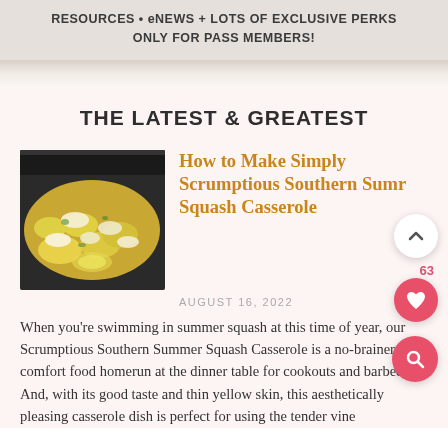RESOURCES • eNEWS + LOTS OF EXCLUSIVE PERKS ONLY FOR PASS MEMBERS!
THE LATEST & GREATEST
[Figure (photo): Close-up photo of a Southern summer squash casserole dish with yellow squash pieces topped with a creamy mixture]
How to Make Simply Scrumptious Southern Summer Squash Casserole
AUGUST 16, 2022
When you're swimming in summer squash at this time of year, our Scrumptious Southern Summer Squash Casserole is a no-brainer comfort food homerun at the dinner table for cookouts and barbecues. And, with its good taste and thin yellow skin, this aesthetically pleasing casserole dish is perfect for using the tender vine